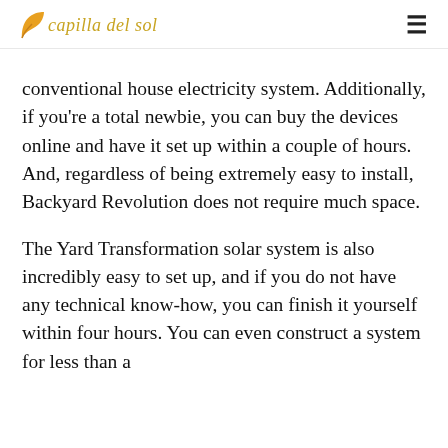capilla del sol
conventional house electricity system. Additionally, if you're a total newbie, you can buy the devices online and have it set up within a couple of hours. And, regardless of being extremely easy to install, Backyard Revolution does not require much space.
The Yard Transformation solar system is also incredibly easy to set up, and if you do not have any technical know-how, you can finish it yourself within four hours. You can even construct a system for less than a